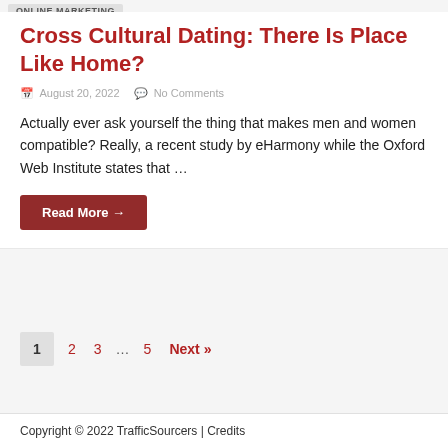Online Marketing
Cross Cultural Dating: There Is Place Like Home?
August 20, 2022   No Comments
Actually ever ask yourself the thing that makes men and women compatible? Really, a recent study by eHarmony while the Oxford Web Institute states that …
Read More →
1   2   3   …   5   Next »
Copyright © 2022 TrafficSourcers | Credits